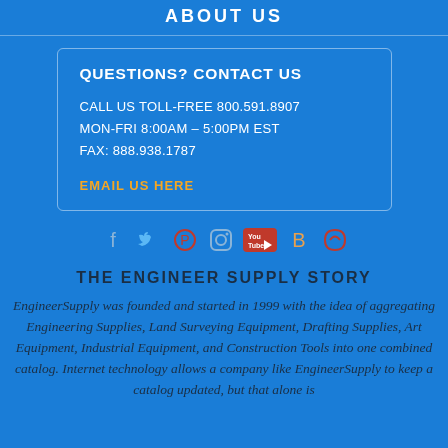ABOUT US
QUESTIONS? CONTACT US
CALL US TOLL-FREE 800.591.8907
MON-FRI 8:00AM – 5:00PM EST
FAX: 888.938.1787
EMAIL US HERE
[Figure (infographic): Social media icons: Facebook, Twitter, Pinterest, Instagram, YouTube, Blogger, and one more icon]
THE ENGINEER SUPPLY STORY
EngineerSupply was founded and started in 1999 with the idea of aggregating Engineering Supplies, Land Surveying Equipment, Drafting Supplies, Art Equipment, Industrial Equipment, and Construction Tools into one combined catalog. Internet technology allows a company like EngineerSupply to keep a catalog updated, but that alone is